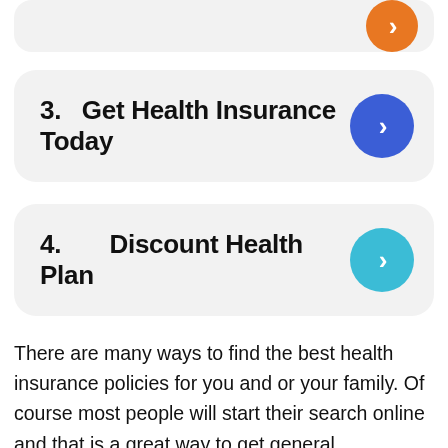2. Immediate Health Insurance
3. Get Health Insurance Today
4. Discount Health Plan
There are many ways to find the best health insurance policies for you and or your family. Of course most people will start their search online and that is a great way to get general information on policies available to you but the best way to get the best deal on health insurance is leverage the competition that’s so prevalent in the industry and to pit the companies against each other to achieve the